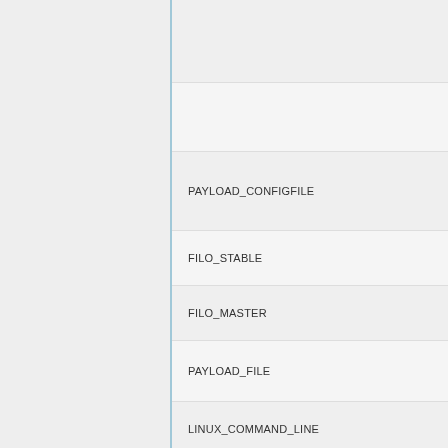PAYLOAD_CONFIGFILE
FILO_STABLE
FILO_MASTER
PAYLOAD_FILE
LINUX_COMMAND_LINE
LINUX_INITRD
PAYLOAD_FILE
GRUB2_MASTER